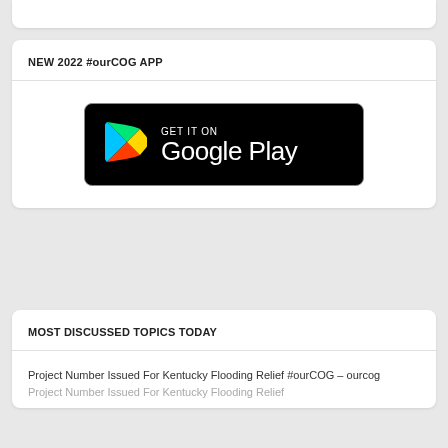NEW 2022 #ourCOG APP
[Figure (logo): Google Play Store badge — black rounded rectangle with the Google Play triangle logo in blue, green, yellow and red colors, alongside 'GET IT ON' and 'Google Play' text in white.]
MOST DISCUSSED TOPICS TODAY
Project Number Issued For Kentucky Flooding Relief #ourCOG – ourcog Project Number Issued For Kentucky Flooding Relief